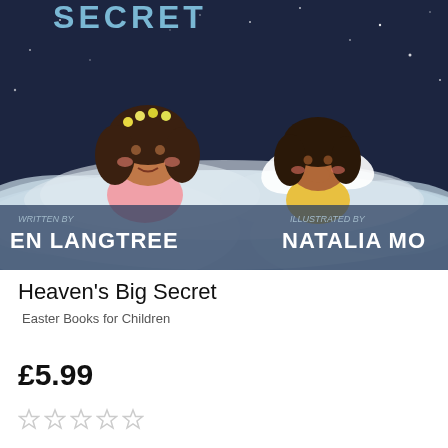[Figure (illustration): Book cover of 'Heaven's Big Secret' showing two cartoon children — a girl with a flower crown in a pink dress and a boy with angel wings in a yellow shirt — sitting on clouds against a dark starry sky. Text on cover reads 'SECRET' at the top, 'WRITTEN BY EN LANGTREE' on the left and 'ILLUSTRATED BY NATALIA MO' on the right.]
Heaven's Big Secret
Easter Books for Children
£5.99
☆☆☆☆☆